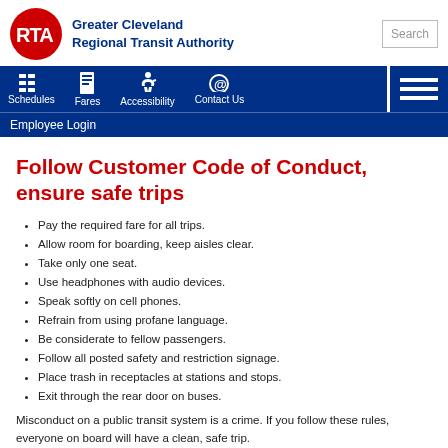Greater Cleveland Regional Transit Authority
Follow Customer Code of Conduct, ensure safe trips
Pay the required fare for all trips.
Allow room for boarding, keep aisles clear.
Take only one seat.
Use headphones with audio devices.
Speak softly on cell phones.
Refrain from using profane language.
Be considerate to fellow passengers.
Follow all posted safety and restriction signage.
Place trash in receptacles at stations and stops.
Exit through the rear door on buses.
Misconduct on a public transit system is a crime. If you follow these rules, everyone on board will have a clean, safe trip.